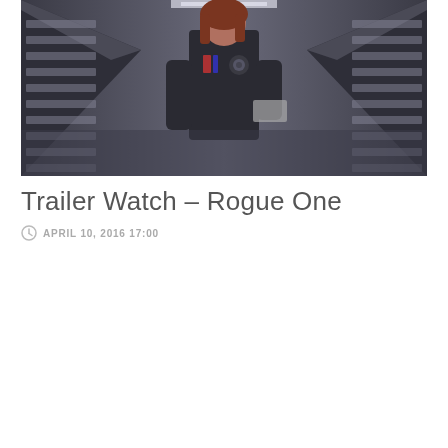[Figure (photo): A woman in a dark Imperial officer-style costume with an Imperial cog emblem on the shoulder, standing in a futuristic corridor with fluorescent lighting and grid-patterned walls — Star Wars Rogue One themed image.]
Trailer Watch – Rogue One
APRIL 10, 2016 17:00